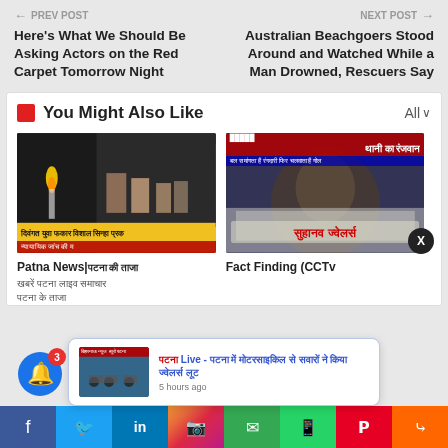← PREV POST | NEXT POST →
Here's What We Should Be Asking Actors on the Red Carpet Tomorrow Night
Australian Beachgoers Stood Around and Watched While a Man Drowned, Rescuers Say
You Might Also Like
[Figure (screenshot): News thumbnail showing a candlelight vigil scene with Hindi text overlays including yellow bar with Hindi text and red bar at top]
Patna News|█████ ██ █████ ████████ ██████ █████████ ██████ ██ █████
[Figure (screenshot): News thumbnail showing a man's face with Hindi text banners in red and blue reading about robbery/extortion]
Fact Finding (CCTv
[Figure (screenshot): Notification popup with thumbnail showing motorcycles, Hindi Live text and article title in Hindi about news coverage]
5 hours ago